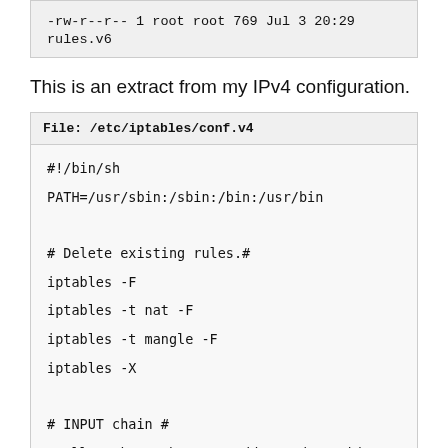-rw-r--r-- 1 root root  769 Jul  3 20:29 rules.v6
This is an extract from my IPv4 configuration.
File: /etc/iptables/conf.v4
#!/bin/sh
PATH=/usr/sbin:/sbin:/bin:/usr/bin

# Delete existing rules.#
iptables -F
iptables -t nat -F
iptables -t mangle -F
iptables -X

# INPUT chain #
# All packets that are addressed to this computer. #
# Drop all traffic as the default policy.